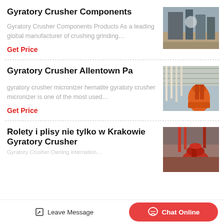Gyratory Crusher Components
Gyratory Crusher Components Products As a leading global manufacturer of crushing grinding…
Get Price
[Figure (photo): Industrial facility with machinery and equipment]
Gyratory Crusher Allentown Pa
gyratory crusher micronizer hematite gyratory crusher micronizer is one of the most used…
Get Price
[Figure (photo): Orange industrial crusher equipment inside a large warehouse]
Rolety i plisy nie tylko w Krakowie Gyratory Crusher
Gyratory Crusher Owning internation…
[Figure (photo): Red industrial crusher equipment inside industrial building]
Leave Message | Chat Online